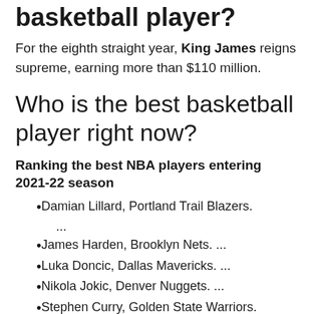basketball player?
For the eighth straight year, King James reigns supreme, earning more than $110 million.
Who is the best basketball player right now?
Ranking the best NBA players entering 2021-22 season
Damian Lillard, Portland Trail Blazers. ...
James Harden, Brooklyn Nets. ...
Luka Doncic, Dallas Mavericks. ...
Nikola Jokic, Denver Nuggets. ...
Stephen Curry, Golden State Warriors.